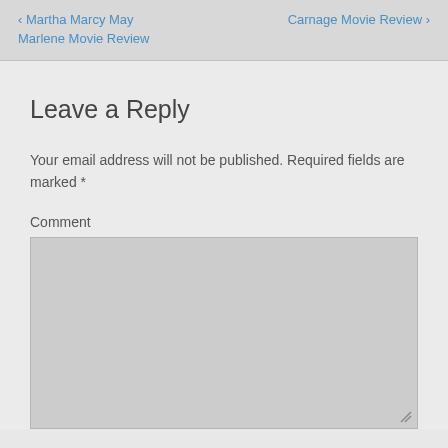< Martha Marcy May Marlene Movie Review    Carnage Movie Review >
Leave a Reply
Your email address will not be published. Required fields are marked *
Comment